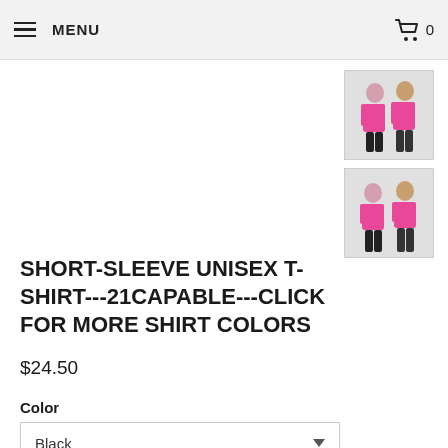MENU  0
[Figure (photo): Two people wearing pink t-shirts, product thumbnail 1]
[Figure (photo): Two people wearing pink t-shirts, product thumbnail 2]
SHORT-SLEEVE UNISEX T-SHIRT---21CAPABLE---CLICK FOR MORE SHIRT COLORS
$24.50
Color
Black